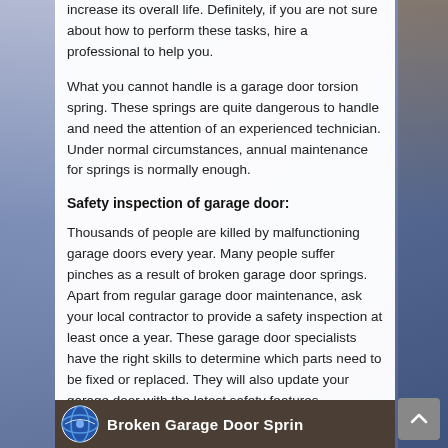increase its overall life. Definitely, if you are not sure about how to perform these tasks, hire a professional to help you.
What you cannot handle is a garage door torsion spring. These springs are quite dangerous to handle and need the attention of an experienced technician. Under normal circumstances, annual maintenance for springs is normally enough.
Safety inspection of garage door:
Thousands of people are killed by malfunctioning garage doors every year. Many people suffer pinches as a result of broken garage door springs. Apart from regular garage door maintenance, ask your local contractor to provide a safety inspection at least once a year. These garage door specialists have the right skills to determine which parts need to be fixed or replaced. They will also update your garage door with the latest safety features.
[Figure (other): Bottom banner showing logo and text 'Broken Garage Door Sprin' with a dark background]